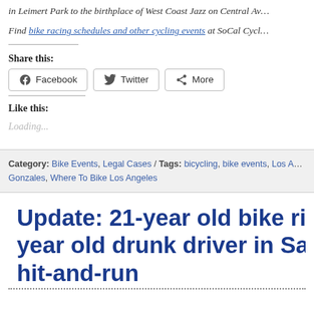in Leimert Park to the birthplace of West Coast Jazz on Central Av...
Find bike racing schedules and other cycling events at SoCal Cycl...
Share this:
Facebook  Twitter  More
Like this:
Loading...
Category: Bike Events, Legal Cases / Tags: bicycling, bike events, Los A... Gonzales, Where To Bike Los Angeles
Update: 21-year old bike rider kill... year old drunk driver in Santiago hit-and-run